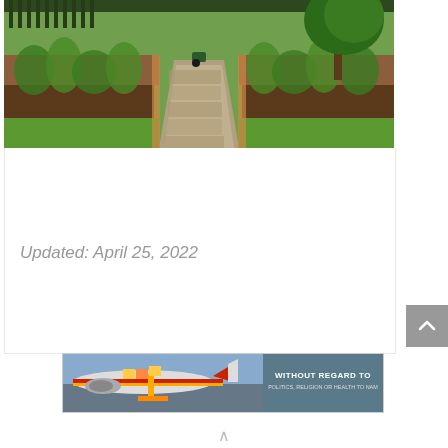[Figure (photo): Garden path with stone pavers flanked by raised garden beds with green plants, a wheelbarrow visible in the background, and trees on the right side]
Updated: April 25, 2022
[Figure (photo): Advertisement banner showing an airplane being loaded with cargo, with text 'WITHOUT REGARD TO POLITICS, RELIGION OR HEALTH TO NAM']